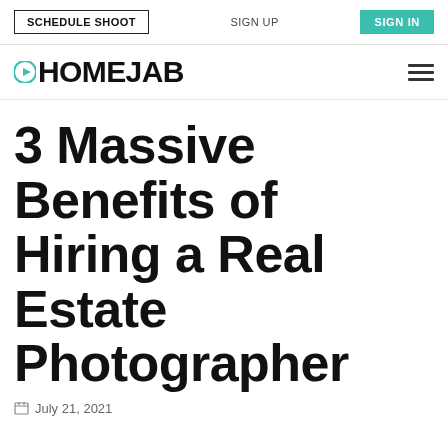SCHEDULE SHOOT | SIGN UP | SIGN IN
[Figure (logo): HomeJab logo with teal play button icon and hamburger menu]
3 Massive Benefits of Hiring a Real Estate Photographer
July 21, 2021